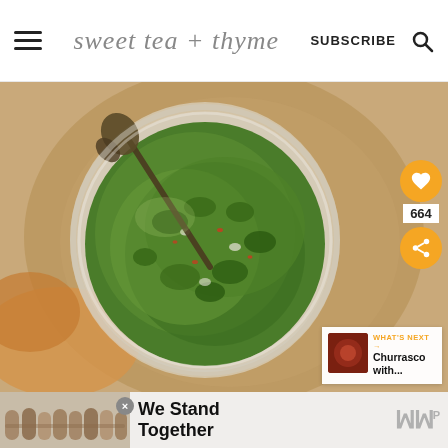sweet tea + thyme | SUBSCRIBE
[Figure (photo): Overhead top-down view of a glass jar filled with bright green chimichurri sauce, with a decorative metal spoon, placed on a wooden cutting board. Warm blurred background.]
664
WHAT'S NEXT → Churrasco with...
[Figure (photo): Advertisement banner: group of people standing with arms around each other, text 'We Stand Together', with a logo on the right and a close button.]